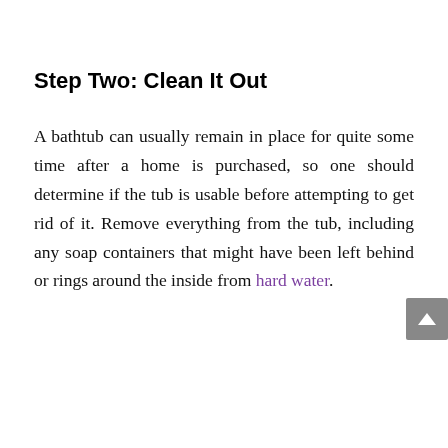Step Two: Clean It Out
A bathtub can usually remain in place for quite some time after a home is purchased, so one should determine if the tub is usable before attempting to get rid of it. Remove everything from the tub, including any soap containers that might have been left behind or rings around the inside from hard water.